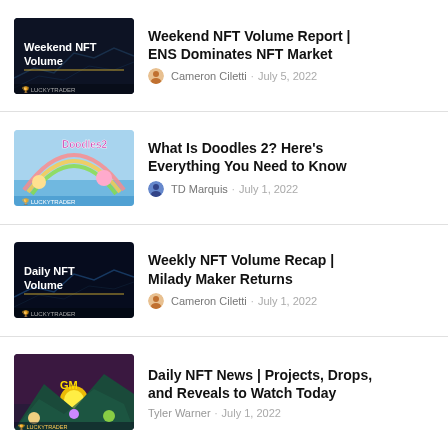[Figure (screenshot): A list of 4 NFT news article cards, each with a thumbnail image on the left and title plus author/date on the right.]
Weekend NFT Volume Report | ENS Dominates NFT Market
Cameron Ciletti · July 5, 2022
What Is Doodles 2? Here's Everything You Need to Know
TD Marquis · July 1, 2022
Weekly NFT Volume Recap | Milady Maker Returns
Cameron Ciletti · July 1, 2022
Daily NFT News | Projects, Drops, and Reveals to Watch Today
Tyler Warner · July 1, 2022